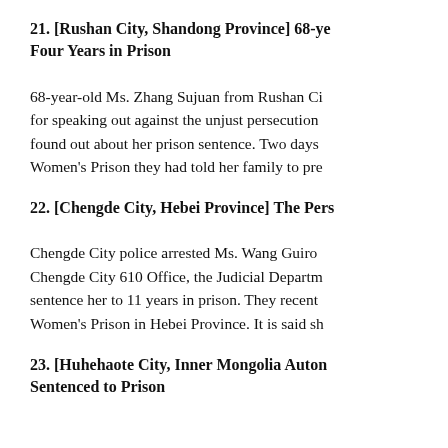21. [Rushan City, Shandong Province] 68-year-old Woman Sentenced to Four Years in Prison
68-year-old Ms. Zhang Sujuan from Rushan City was arrested for speaking out against the unjust persecution of Falun Gong. Her family found out about her prison sentence. Two days later, the Shandong Province Women's Prison they had told her family to prepare things for her.
22. [Chengde City, Hebei Province] The Persecution of Ms. Wang Guirong
Chengde City police arrested Ms. Wang Guirong at the direction of the Chengde City 610 Office, the Judicial Department conspired together to sentence her to 11 years in prison. They recently transferred her to the Women's Prison in Hebei Province. It is said sh
23. [Huhehaote City, Inner Mongolia Autonomous Region] Practitioner Sentenced to Prison